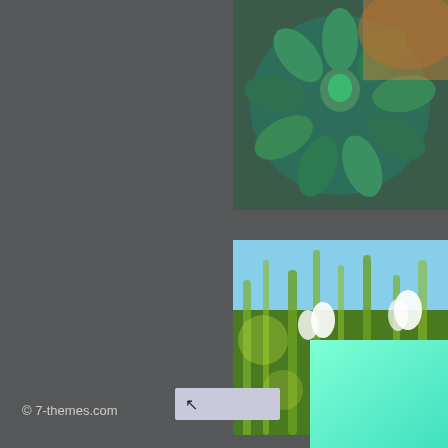[Figure (photo): Close-up photograph of a green succulent plant with teal/blue-green pointed leaves arranged in a spiral pattern, top-right corner]
[Figure (photo): Photograph of snowdrop flowers and green grass shoots against a blue sky background, right side middle]
Pages: 5 6 7 8
[Figure (photo): Teal/mint green gradient background image, bottom right]
© 7-themes.com
[Figure (other): Light blue-gray button with an upward-left arrow icon, back to top button]